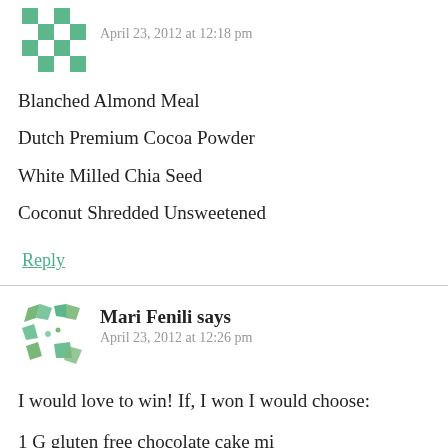[Figure (illustration): Green checkered avatar icon for first commenter]
April 23, 2012 at 12:18 pm
Blanched Almond Meal
Dutch Premium Cocoa Powder
White Milled Chia Seed
Coconut Shredded Unsweetened
Reply
[Figure (illustration): Green leaf/plant pattern avatar icon for Mari Fenili]
Mari Fenili says
April 23, 2012 at 12:26 pm
I would love to win! If, I won I would choose:
1 G gluten free chocolate cake mix